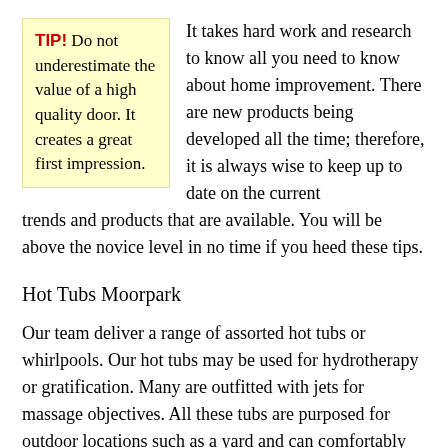TIP! Do not underestimate the value of a high quality door. It creates a great first impression.
It takes hard work and research to know all you need to know about home improvement. There are new products being developed all the time; therefore, it is always wise to keep up to date on the current trends and products that are available. You will be above the novice level in no time if you heed these tips.
Hot Tubs Moorpark
Our team deliver a range of assorted hot tubs or whirlpools. Our hot tubs may be used for hydrotherapy or gratification. Many are outfitted with jets for massage objectives. All these tubs are purposed for outdoor locations such as a yard and can comfortably loosen up, several persons simultaneously. The water does not need to be transformed together with every use, instead scrubed with sanitary procedures similar to those put to use with swimming pools. Our people offer hot